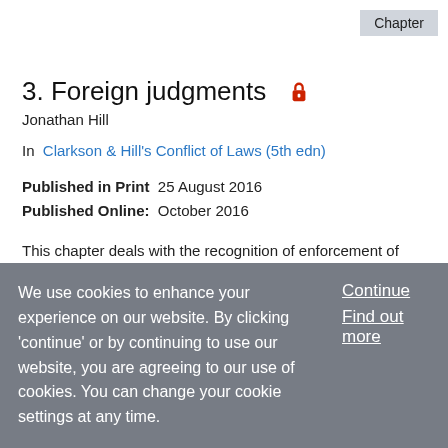Chapter
3. Foreign judgments 🔒
Jonathan Hill
In  Clarkson & Hill's Conflict of Laws (5th edn)
Published in Print  25 August 2016
Published Online:  October 2016
This chapter deals with the recognition of enforcement of foreign judgments by English courts. The crucial question is not whether foreign judgments should be recognised and enforced in England but which judgments should be recognised and enforced. There are, broadly speaking, two
We use cookies to enhance your experience on our website. By clicking 'continue' or by continuing to use our website, you are agreeing to our use of cookies. You can change your cookie settings at any time.
Continue
Find out more